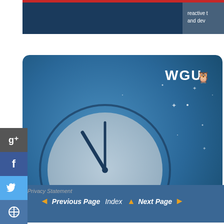[Figure (photo): Partial top view of a book cover — dark blue with red and white text partially visible]
[Figure (illustration): WGU advertisement banner: dark teal/blue background with illustrated clock, stars, text 'I GOT MY DEGREE ON MY SCHEDULE.' in yellow, WGU owl logo top right]
[Figure (other): Parts Hangar advertisement: logo with red diamond shape, company name 'Parts Hangar', red 'CLICK HERE' button, and text 'Order Parts Found On This Website']
Privacy Statement  ◄ Previous Page  Index ▲  Next Page ►